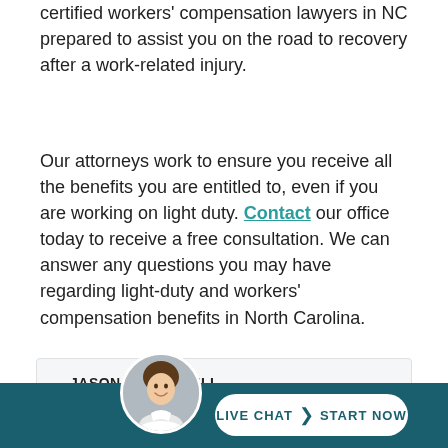certified workers' compensation lawyers in NC prepared to assist you on the road to recovery after a work-related injury.
Our attorneys work to ensure you receive all the benefits you are entitled to, even if you are working on light duty. Contact our office today to receive a free consultation. We can answer any questions you may have regarding light-duty and workers' compensation benefits in North Carolina.
JASON MCCONNELL
[Figure (photo): Circular avatar photo of a smiling woman with dark hair, used as a chat representative icon in the bottom live chat bar.]
LIVE CHAT  START NOW